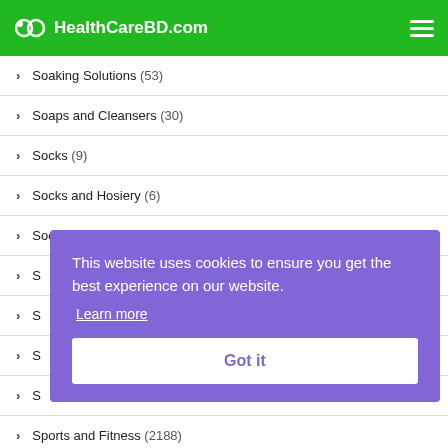HealthCareBD.com
Soaking Solutions (53)
Soaps and Cleansers (30)
Socks (9)
Socks and Hosiery (6)
Socks and Insoles (112)
S...
S...
S...
S...
Sports and Fitness (2188)
This website uses cookies to ensure you get the best experience on our website. Learn more
Got it